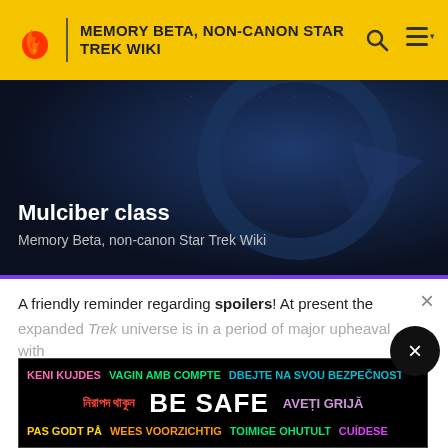MEMORY BETA, NON-CANON STAR TREK WIKI
[Figure (screenshot): Hero image with dark blue space background showing circular design element and arrow shapes, with text overlay 'Mulciber class' and subtitle 'Memory Beta, non-canon Star Trek Wiki']
Mulciber class
Memory Beta, non-canon Star Trek Wiki
[Figure (photo): Blurred reddish-brown abstract image, appears to be a close-up with dark shapes against warm tones]
A friendly reminder regarding spoilers! At present the expanded Trek universe is in a period of major upheaval with
READ MORE
Theophrastus class
Memory Beta, non-canon Star Trek Wiki
KENI KUJDES VAGIN AMB COMPTE DBEJTE NA SVOU BEZPEČNOST নিরাপদ থাকুন BE SAFE AVEȚI GRIJĂ PAS GODT PÅ WEES VOORZICHTIG TOIMIGE OHUTULT CUÍDESE